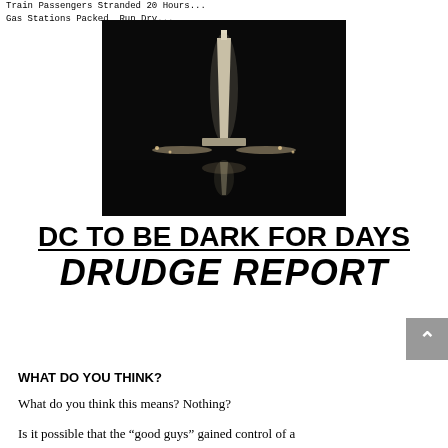Train Passengers Stranded 20 Hours...
Gas Stations Packed, Run Dry...
[Figure (photo): Night photograph of the Washington Monument reflected in water, with lights at the base and dark sky background]
DC TO BE DARK FOR DAYS
DRUDGE REPORT
WHAT DO YOU THINK?
What do you think this means? Nothing?
Is it possible that the “good guys” gained control of a